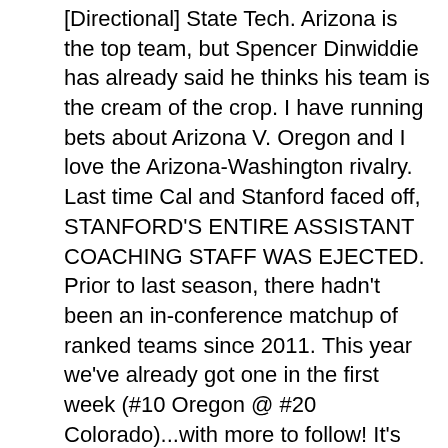[Directional] State Tech. Arizona is the top team, but Spencer Dinwiddie has already said he thinks his team is the cream of the crop. I have running bets about Arizona V. Oregon and I love the Arizona-Washington rivalry. Last time Cal and Stanford faced off, STANFORD'S ENTIRE ASSISTANT COACHING STAFF WAS EJECTED. Prior to last season, there hadn't been an in-conference matchup of ranked teams since 2011. This year we've already got one in the first week (#10 Oregon @ #20 Colorado)...with more to follow! It's conference time.
Ben Carter – He has just three games under his belt (flipping shoe swag) and really just one of consequence. In that game – against BYU – he managed 4 points, 4 boards, 3 assists. Not quite Arsalan Kazemi yet not even close, either. But he's long been considered a budding piece of what Dana Altman is trying to accomplish. And now's the time. From a personnel standpoint, the Ducks can't quite